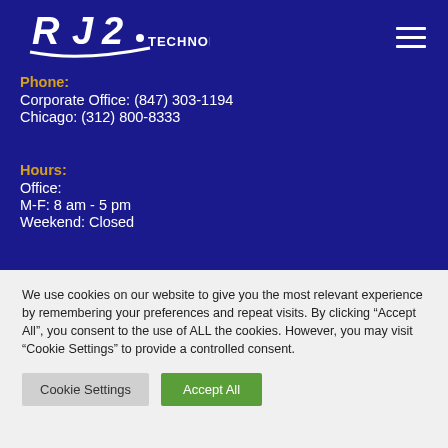[Figure (logo): RJ2 Technologies logo with white stylized letters and swoosh on dark blue background]
Phone:
Corporate Office: (847) 303-1194
Chicago: (312) 800-8333
Hours:
Office:
M-F: 8 am - 5 pm
Weekend: Closed
We use cookies on our website to give you the most relevant experience by remembering your preferences and repeat visits. By clicking “Accept All”, you consent to the use of ALL the cookies. However, you may visit "Cookie Settings" to provide a controlled consent.
Cookie Settings
Accept All